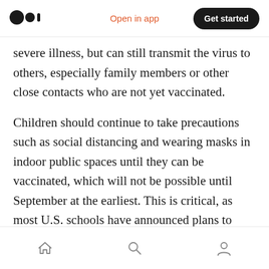Medium app header with logo, Open in app link, and Get started button
severe illness, but can still transmit the virus to others, especially family members or other close contacts who are not yet vaccinated.
Children should continue to take precautions such as social distancing and wearing masks in indoor public spaces until they can be vaccinated, which will not be possible until September at the earliest. This is critical, as most U.S. schools have announced plans to reopen fully with in-person learning in the fall.
The Delta variant is a message from the virus: it's
Bottom navigation bar with home, search, and profile icons